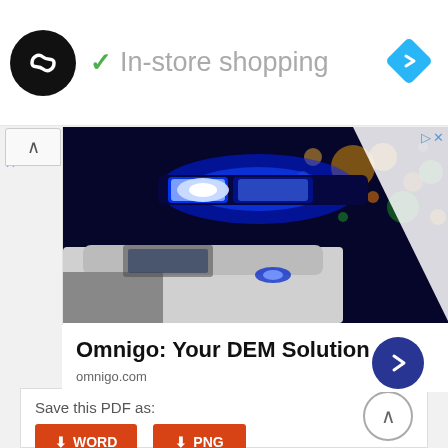[Figure (logo): Black circle logo with infinity/loop symbol and 'In-store shopping' text with green checkmark, and blue diamond navigation icon]
[Figure (photo): Police car with blue flashing lights at night, city street in background with bokeh lights]
Omnigo: Your DEM Solution
omnigo.com
Save this PDF as:
WORD
PNG